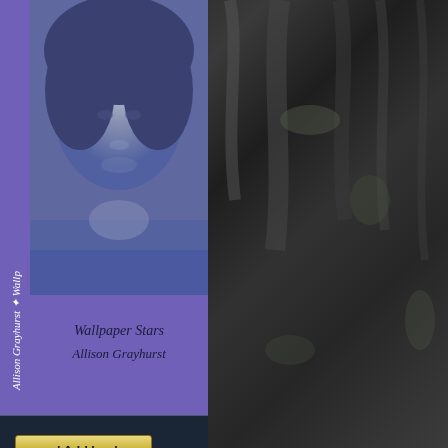[Figure (photo): Screenshot of a book listing website. Left side shows two book covers by Allison Grayhurst: 'Wallpaper Stars' (purple cover with blue-tinted face photo) and 'Walkways' (black and green cover). Between them is a dark navy bar with a 'g | Add book' button. Right side shows a dark gray bark/wood texture background photo.]
Wallpaper Stars
Allison Grayhurst
Walkways
Allison Grayhurst